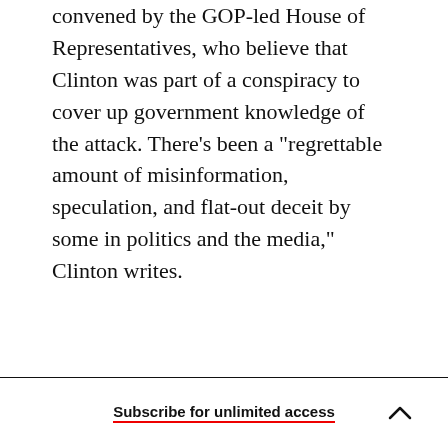convened by the GOP-led House of Representatives, who believe that Clinton was part of a conspiracy to cover up government knowledge of the attack. There's been a "regrettable amount of misinformation, speculation, and flat-out deceit by some in politics and the media," Clinton writes.
Subscribe for unlimited access